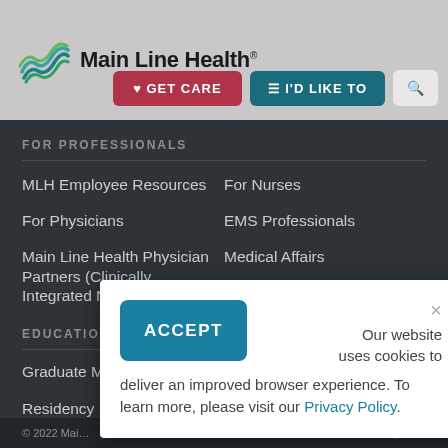[Figure (logo): Main Line Health logo with stylized wave icon in teal/green and text 'Main Line Health®']
[Figure (screenshot): Navigation buttons: GET CARE (red), I'D LIKE TO (teal), and search icon (gray)]
FOR PROFESSIONALS
MLH Employee Resources
For Nurses
For Physicians
EMS Professionals
Main Line Health Physician Partners (Clinically Integrated Network)
Medical Affairs
EDUCATION
Graduate M...
Residency R...
...ms
...l Education
© 2022 Mai...  | Use | Web
Our website uses cookies to deliver an improved browser experience. To learn more, please visit our Privacy Policy.